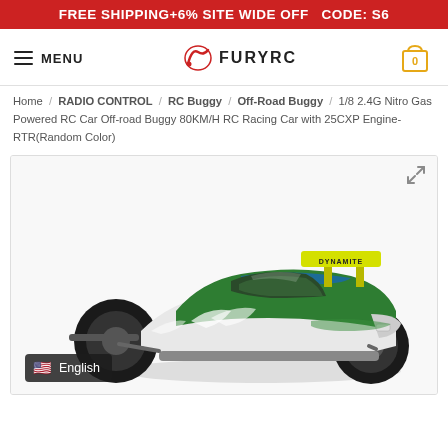FREE SHIPPING+6% SITE WIDE OFF  CODE: S6
[Figure (logo): FuryRC website navigation bar with hamburger menu, FuryRC logo, and shopping cart icon showing 0 items]
Home / RADIO CONTROL / RC Buggy / Off-Road Buggy / 1/8 2.4G Nitro Gas Powered RC Car Off-road Buggy 80KM/H RC Racing Car with 25CXP Engine-RTR(Random Color)
[Figure (photo): Green and white RC off-road buggy racing car with yellow spoiler, large black tires, shown on white background. English language badge visible at bottom left.]